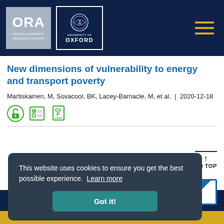ORA Oxford University Research Archive | University of Oxford
New dimensions of vulnerability to energy and transport poverty
Martiskainen, M, Sovacool, BK, Lacey-Barnacle, M, et al. | 2020-12-18
[Figure (infographic): Open access icon, peer reviewed icons]
This website uses cookies to ensure you get the best possible experience. Learn more
Got it!